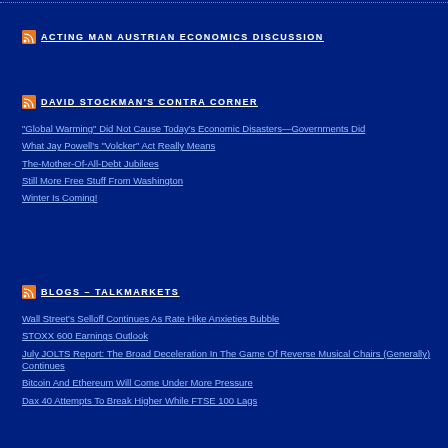ACTING MAN AUSTRIAN ECONOMICS DISCUSSION
DAVID STOCKMAN'S CONTRA CORNER
“Global Warming” Did Not Cause Today’s Economic Disasters—Governments Did
What Jay Powell’s “Volcker” Act Really Means
The-Mother-Of-All-Debt Jubilees
Still More Free Stuff From Washington
Winter Is Coming!
BLOGS – TALKMARKETS
Wall Street's Selloff Continues As Rate Hike Anxieties Bubble
STOXX 600 Earnings Outlook
July JOLTS Report: The Broad Deceleration In The Game Of Reverse Musical Chairs (Generally) Continues
Bitcoin And Ethereum Will Come Under More Pressure
Dax 40 Attempts To Break Higher While FTSE 100 Lags